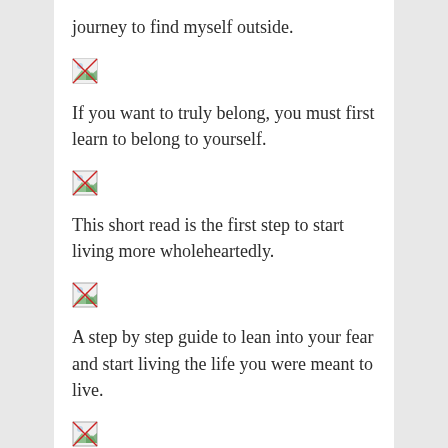journey to find myself outside.
[Figure (illustration): Small broken image icon placeholder]
If you want to truly belong, you must first learn to belong to yourself.
[Figure (illustration): Small broken image icon placeholder]
This short read is the first step to start living more wholeheartedly.
[Figure (illustration): Small broken image icon placeholder]
A step by step guide to lean into your fear and start living the life you were meant to live.
[Figure (illustration): Small broken image icon placeholder]
Inspiring and hilarious. Read Tina Fey's story